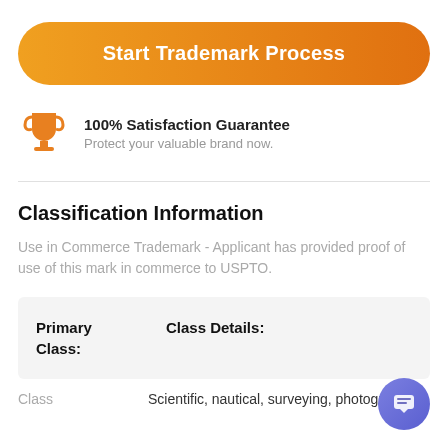Start Trademark Process
100% Satisfaction Guarantee
Protect your valuable brand now.
Classification Information
Use in Commerce Trademark - Applicant has provided proof of use of this mark in commerce to USPTO.
| Primary Class: | Class Details: |
| --- | --- |
Class    Scientific, nautical, surveying, photographic